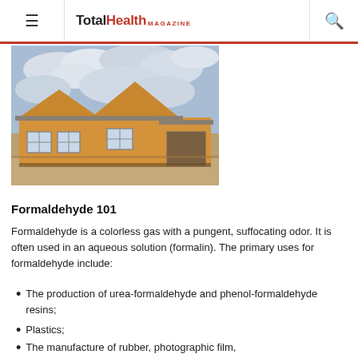TotalHealth MAGAZINE
[Figure (photo): Exterior of a house under construction with bare OSB/plywood sheathing walls and grey sky with clouds in background.]
Formaldehyde 101
Formaldehyde is a colorless gas with a pungent, suffocating odor. It is often used in an aqueous solution (formalin). The primary uses for formaldehyde include:
The production of urea-formaldehyde and phenol-formaldehyde resins;
Plastics;
The manufacture of rubber, photographic film,